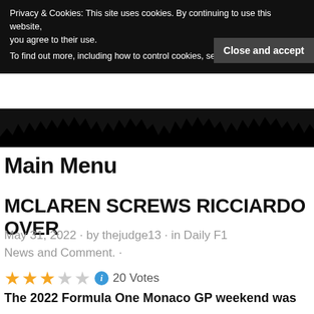Privacy & Cookies: This site uses cookies. By continuing to use this website, you agree to their use.
To find out more, including how to control cookies, see here: Cookie Policy
Close and accept
[Figure (photo): Dark banner image with rough torn/jagged bottom edge resembling a crowd or city silhouette]
Main Menu
MCLAREN SCREWS RICCIARDO OVER
May 31, 2022 · by thejudge13 · in Daily F1 News and Comment. ·
20 Votes
The 2022 Formula One Monaco GP weekend was